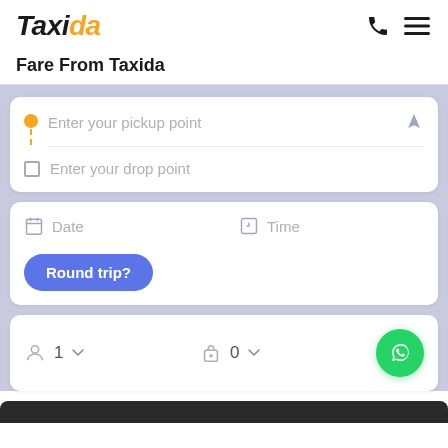Taxida
Fare From Taxida
[Figure (screenshot): Taxi fare booking form UI with pickup point, drop point, date, time, round trip button, passengers and luggage selectors, and WhatsApp contact button]